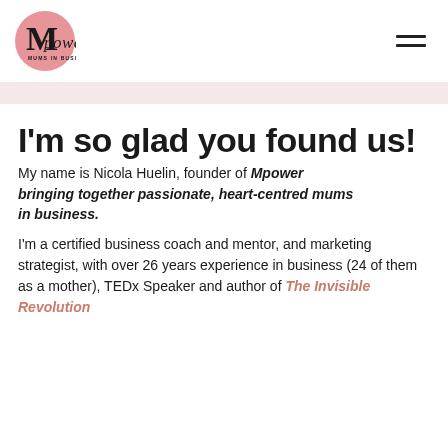[Figure (logo): Mpower Mums in Business logo: pink circle with stylized M and cursive 'mpower' text, subtitle 'MUMS IN BUSINESS']
I'm so glad you found us!
My name is Nicola Huelin, founder of Mpower bringing together passionate, heart-centred mums in business.
I'm a certified business coach and mentor, and marketing strategist, with over 26 years experience in business (24 of them as a mother), TEDx Speaker and author of The Invisible Revolution